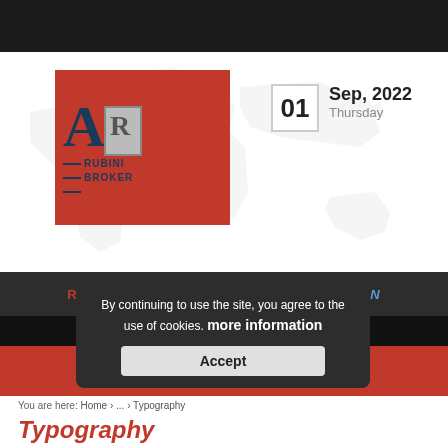[Figure (logo): Rubini Broker Assicurazioni logo on red background with stylized A and R letters and company name]
01  Sep, 2022  Thursday
[Figure (illustration): World map background illustration in light grey]
RUBINI BROKER | FINDS YOUR SOLUTION
By continuing to use the site, you agree to the use of cookies. more information
Accept
You are here: Home › ... › Typography
Typography